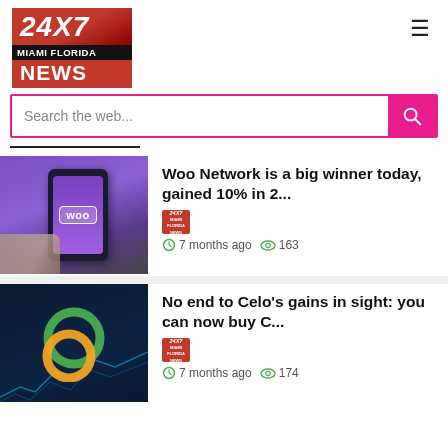[Figure (logo): 24X7 Miami Florida News logo — red gradient top with '24X7' in white italic bold, black band with 'MIAMI FLORIDA' text, red band with 'NEWS' in white bold]
Search the web...
Woo Network is a big winner today, gained 10% in 2...
[Figure (photo): Hand holding a smartphone with purple screen showing 'woo' badge]
7 months ago   163
No end to Celo's gains in sight: you can now buy C...
[Figure (photo): Dark blue background with glowing green and yellow/gold circular rings, crypto chart in background]
7 months ago   174